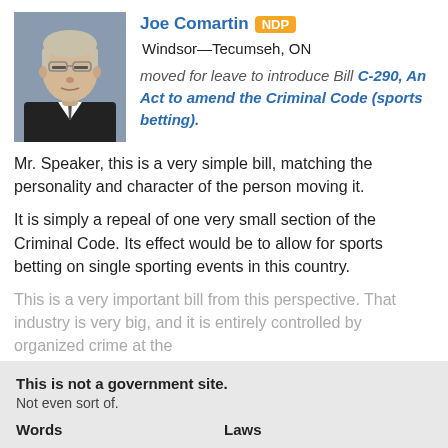[Figure (photo): Headshot photo of Joe Comartin, a middle-aged white man with glasses and grey/blonde hair, wearing a dark suit.]
Joe Comartin NDP Windsor—Tecumseh, ON
moved for leave to introduce Bill C-290, An Act to amend the Criminal Code (sports betting).
Mr. Speaker, this is a very simple bill, matching the personality and character of the person moving it.
It is simply a repeal of one very small section of the Criminal Code. Its effect would be to allow for sports betting on single sporting events in this country.
This is a very important bill from this perspective. That industry is very big, and it is entirely controlled by organized crime at the
read more ↓
This is not a government site. Not even sort of.
Words | Laws